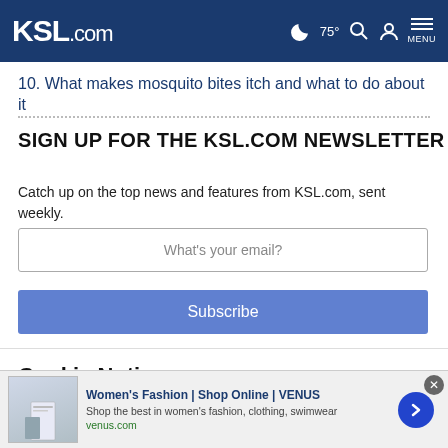KSL.com
10. What makes mosquito bites itch and what to do about it
SIGN UP FOR THE KSL.COM NEWSLETTER
Catch up on the top news and features from KSL.com, sent weekly.
What's your email?
Subscribe
Cookie Notice
We use cookies to improve your experience, analyze site traffic, and to personalize content and ads. By continuing to use our site, you consent to our use of cookies. Please visit our Terms of Use and Privacy Policy for more information
[Figure (screenshot): Advertisement for Women's Fashion | Shop Online | VENUS - Shop the best in women's fashion, clothing, swimwear - venus.com]